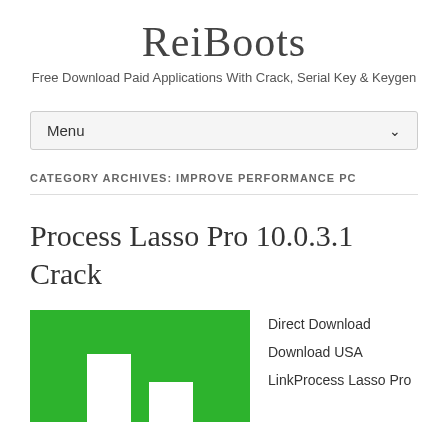ReiBoots
Free Download Paid Applications With Crack, Serial Key & Keygen
Menu
CATEGORY ARCHIVES: IMPROVE PERFORMANCE PC
Process Lasso Pro 10.0.3.1 Crack
[Figure (screenshot): Green background with two white vertical bars resembling a bar chart logo for Process Lasso Pro]
Direct Download
Download USA
LinkProcess Lasso Pro